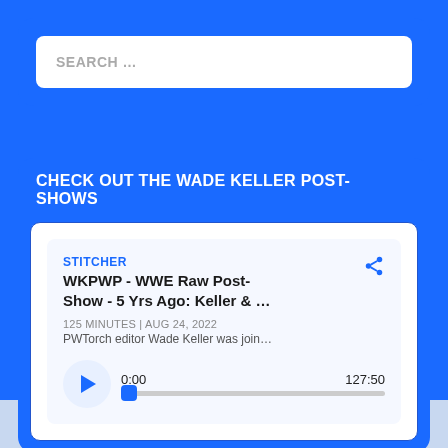[Figure (screenshot): Search bar UI element with placeholder text 'SEARCH ...' on blue background]
CHECK OUT THE WADE KELLER POST-SHOWS
[Figure (screenshot): Stitcher podcast embed card showing 'WKPWP - WWE Raw Post-Show - 5 Yrs Ago: Keller & ...' with duration 125 MINUTES, date AUG 24, 2022, description 'PWTorch editor Wade Keller was join...', player showing 0:00 and 127:50]